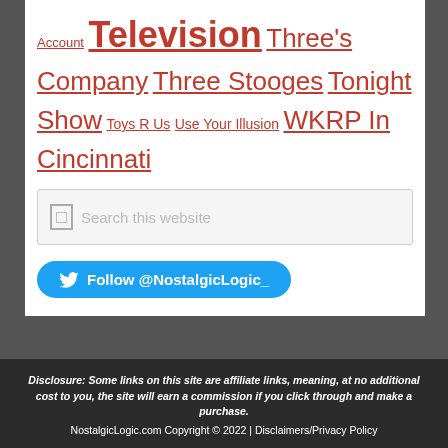Account Television Three's Company Three Stooges Tonight Show Toys R Us Use Your Illusion WKRP In Cincinnati
[Figure (screenshot): Search box with placeholder text 'Search this website']
[Figure (infographic): Twitter follow button: Follow @NostalgicLogic_]
Disclosure: Some links on this site are affiliate links, meaning, at no additional cost to you, the site will earn a commission if you click through and make a purchase. NostalgicLogic.com Copyright © 2022 | Disclaimers/Privacy Policy